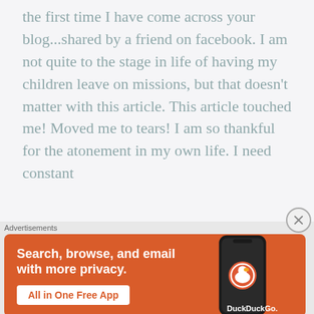the first time I have come across your blog...shared by a friend on facebook. I am not quite to the stage in life of having my children leave on missions, but that doesn't matter with this article. This article touched me! Moved me to tears! I am so thankful for the atonement in my own life. I need constant
[Figure (screenshot): DuckDuckGo advertisement banner with orange background. Text reads 'Search, browse, and email with more privacy. All in One Free App' with a phone image showing the DuckDuckGo app icon and logo.]